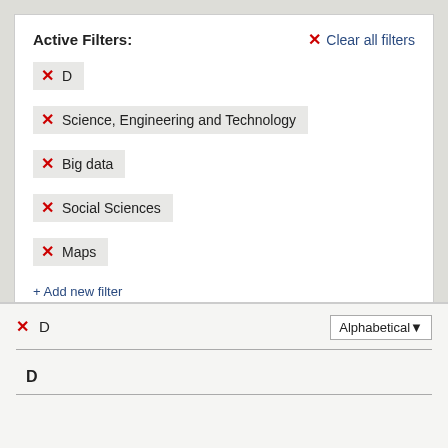Active Filters:
✕ Clear all filters
✕ D
✕ Science, Engineering and Technology
✕ Big data
✕ Social Sciences
✕ Maps
+ Add new filter
✕ D
Alphabetical
D